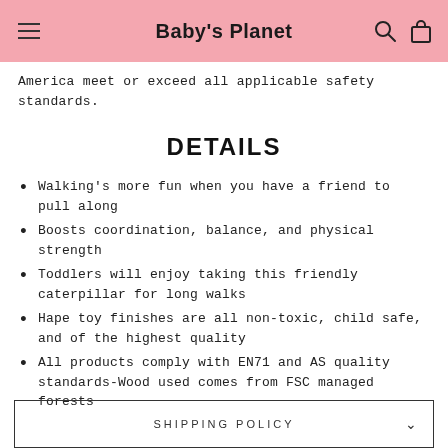Baby's Planet
America meet or exceed all applicable safety standards.
DETAILS
Walking's more fun when you have a friend to pull along
Boosts coordination, balance, and physical strength
Toddlers will enjoy taking this friendly caterpillar for long walks
Hape toy finishes are all non-toxic, child safe, and of the highest quality
All products comply with EN71 and AS quality standards-Wood used comes from FSC managed forests
SHIPPING POLICY